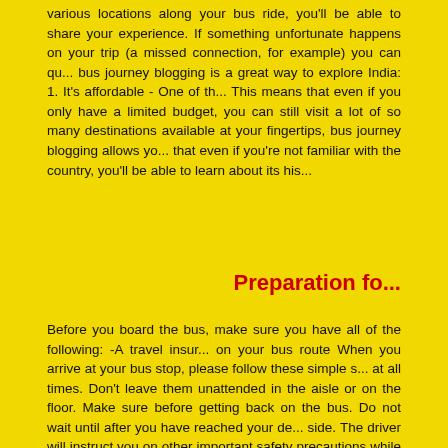various locations along your bus ride, you'll be able to share your experience. If something unfortunate happens on your trip (a missed connection, for example) you can quickly... bus journey blogging is a great way to explore India: 1. It's affordable - One of the... This means that even if you only have a limited budget, you can still visit a lot of... so many destinations available at your fingertips, bus journey blogging allows yo... that even if you're not familiar with the country, you'll be able to learn about its his...
Preparation fo...
Before you board the bus, make sure you have all of the following: -A travel insur... on your bus route When you arrive at your bus stop, please follow these simple s... at all times. Don't leave them unattended in the aisle or on the floor. Make sure... before getting back on the bus. Do not wait until after you have reached your de... side. The driver will instruct you on other important safety precautions while on th...
Tips and tricks on u...
One of the best things about travelling in India is that the buses are alway che... amazing sights that India has to offer. However, even if you are familiar with tra... your trip. Here are some ideas: 1) Look out for bus packages. Sometimes bus... tickets in advance. This can be a great way to get more out of your trip and see... sit in the front or back of the bus so that you can get a better view of everythin... photography. The scenery on a bus journey is usually pretty dull, which is why it... carried away and start taking selfies! 4) Bring snacks and drinks with you. Not on...